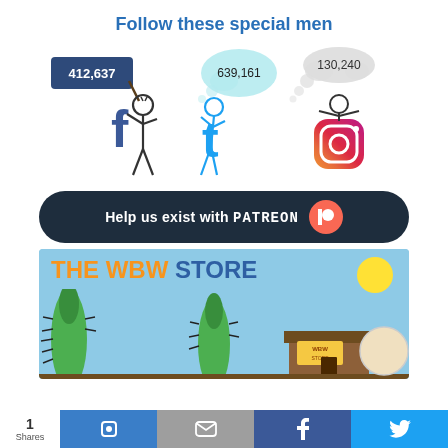Follow these special men
[Figure (illustration): Three stick figures representing social media platforms: Facebook (holding sign showing 412,637), Twitter (blowing speech bubble showing 639,161), and Instagram (thinking bubble showing 130,240)]
[Figure (infographic): Dark banner reading 'Help us exist with PATREON' with Patreon logo icon]
[Figure (illustration): THE WBW STORE banner with orange and blue text on light blue background with cartoon illustrations of store and characters]
1 Shares